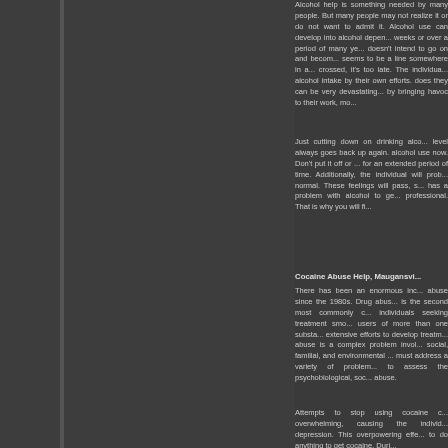Alcohol help is something needed by many people. But many people may not realize it or do not want to admit it. Alcohol use can develop into alcohol dependence in a matter of weeks or over a period of many years. The individual often doesn't intend to go on and become alcohol dependent. There seems to be a line somewhere in alcohol use that when crossed, it's too late. The individual can no longer control their alcohol intake by their own efforts. When alcohol dependency does they can be very devastating on the individual life by bringing havoc to their work, mo...
Just cutting down on drinking alcohol doesn't work as the level always goes back up again. You need to stop your alcohol use now. Don't put it off or make excuses to drink for an extended period of time before beginning treatment. Additionally, the individual will probably not feel like acting normal. These feelings will pass, so it is important when one has a problem with alcohol to get help from a medical professional. That is why you will fi...
Cocaine Abuse Help, Maugansvi...
There has been an enormous increase in cocaine abuse since the 1980s. Drug abuse cocaine is the second most commonly chosen drug by individuals seeking treatment smoking cocaine. Most users of more than one substance, and despite extensive efforts to develop treatments, cocaine abuse is a complex problem involving biological, social, familial, and environmental factors. Treatment must address a variety of problems, and it is important to assess the psychobiological, social, and environmental abuse.
Attempts to stop using cocaine can be overwhelming, causing the individual to feel depression. This overpowering effect causes one to do anything to get cocaine. Duri...